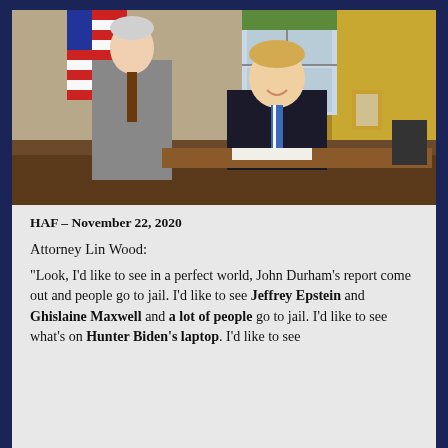[Figure (photo): Two men posing in what appears to be the Oval Office. One man stands to the left in a gray suit, the other sits behind a desk wearing a dark suit with a striped tie. An American flag and gold curtains are visible in the background.]
HAF – November 22, 2020
Attorney Lin Wood:
“Look, I’d like to see in a perfect world, John Durham’s report come out and people go to jail. I’d like to see Jeffrey Epstein and Ghislaine Maxwell and a lot of people go to jail. I’d like to see what’s on Hunter Biden’s laptop. I’d like to see